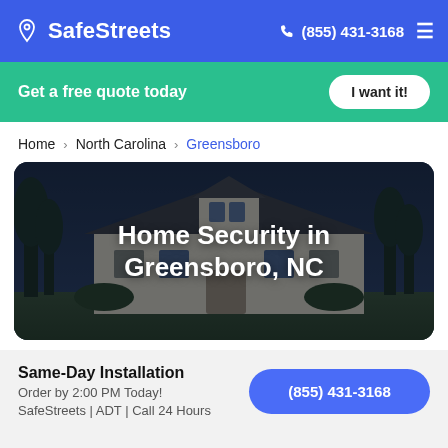SafeStreets — (855) 431-3168
Get a free quote today — I want it!
Home > North Carolina > Greensboro
[Figure (photo): Hero image of a house at night/dusk with overlay text reading 'Home Security in Greensboro, NC']
Home Security in Greensboro, NC
Same-Day Installation
Order by 2:00 PM Today!
SafeStreets | ADT | Call 24 Hours
(855) 431-3168